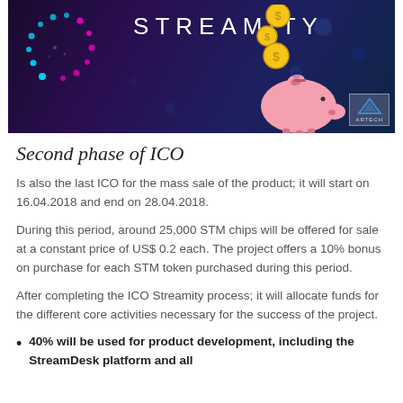[Figure (illustration): Streamity ICO banner with dark purple/blue gradient background, decorative dot spiral in cyan and magenta on left, gold coin icons falling, pink piggy bank, STREAMITY text in white uppercase, and Artech logo bottom right]
Second phase of ICO
Is also the last ICO for the mass sale of the product; it will start on 16.04.2018 and end on 28.04.2018.
During this period, around 25,000 STM chips will be offered for sale at a constant price of US$ 0.2 each. The project offers a 10% bonus on purchase for each STM token purchased during this period.
After completing the ICO Streamity process; it will allocate funds for the different core activities necessary for the success of the project.
40% will be used for product development, including the StreamDesk platform and all